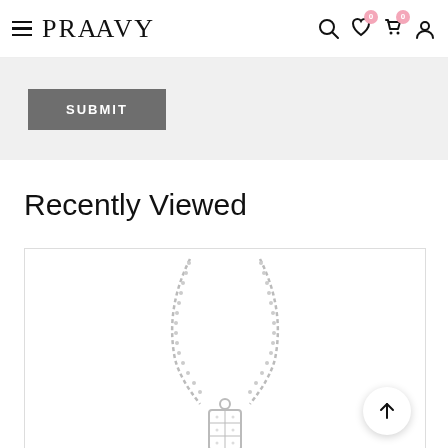PRAAVY — navigation bar with hamburger menu, brand name, search, wishlist (0), cart (0), and account icons
SUBMIT
Recently Viewed
[Figure (photo): Silver necklace with a rectangular diamond-encrusted pendant on a delicate chain, displayed on white background]